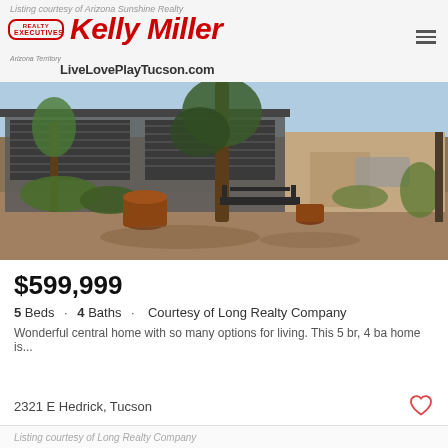Listing courtesy of Arizona Sunshine Realty
[Figure (logo): Realty Executives Kelly Miller logo with tagline LiveLovePlayTucson.com]
[Figure (photo): Exterior photo of a mid-century desert home in Tucson with terracotta pots, a bench, and desert landscaping in front]
$599,999
5 Beds · 4 Baths · Courtesy of Long Realty Company
Wonderful central home with so many options for living. This 5 br, 4 ba home is...
2321 E Hedrick, Tucson
Listing courtesy of Long Realty Company